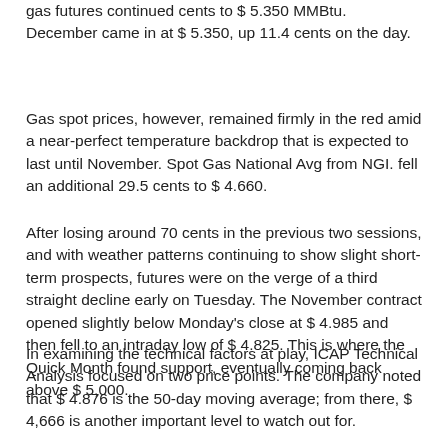gas futures continued cents to $ 5.350 MMBtu. December came in at $ 5.350, up 11.4 cents on the day.
Gas spot prices, however, remained firmly in the red amid a near-perfect temperature backdrop that is expected to last until November. Spot Gas National Avg from NGI. fell an additional 29.5 cents to $ 4.660.
After losing around 70 cents in the previous two sessions, and with weather patterns continuing to show slight short-term prospects, futures were on the verge of a third straight decline early on Tuesday. The November contract opened slightly below Monday's close at $ 4.985 and then fell to an intraday low of $ 4.825. This is where the Quick Month found support, eventually coming back above $ 5,000.
In examining the technical factors at play, ICAP Technical Analysis focused on two price points. The company noted that $ 4.876 is the 50-day moving average; from there, $ 4,666 is another important level to watch out for.